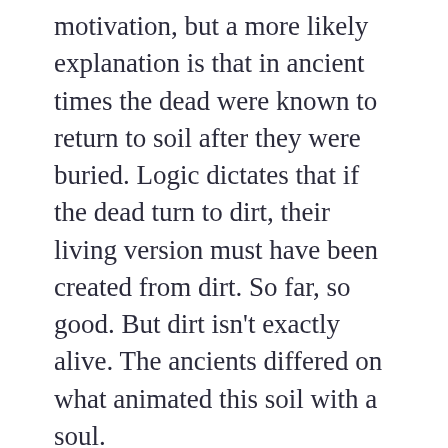motivation, but a more likely explanation is that in ancient times the dead were known to return to soil after they were buried. Logic dictates that if the dead turn to dirt, their living version must have been created from dirt. So far, so good. But dirt isn't exactly alive. The ancients differed on what animated this soil with a soul.
The Bible presents a lofty